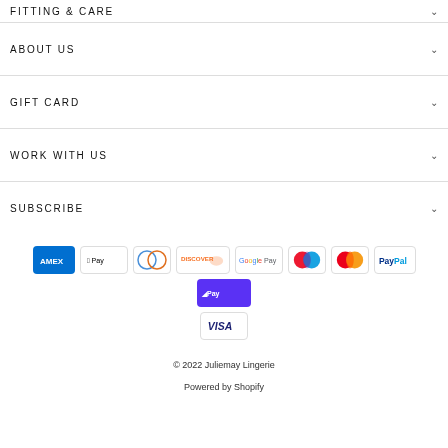FITTING & CARE
ABOUT US
GIFT CARD
WORK WITH US
SUBSCRIBE
[Figure (other): Payment method icons: American Express, Apple Pay, Diners Club, Discover, Google Pay, Maestro, Mastercard, PayPal, Shop Pay, Visa]
© 2022 Juliemay Lingerie
Powered by Shopify